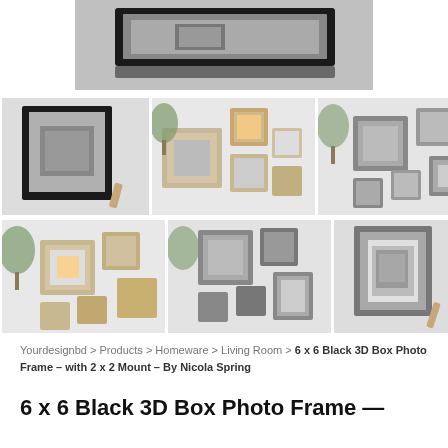[Figure (photo): Product hero image: black 3D box photo frame viewed from above/side angle showing depth]
[Figure (photo): Thumbnail 1: Black 3D box frame with grey mount, small photo inside, shown standing up]
[Figure (photo): Thumbnail 2: Gallery wall arrangement with natural wood and black frames]
[Figure (photo): Thumbnail 3: Gallery wall arrangement with grey/neutral frames]
[Figure (photo): Thumbnail 4: Grey frame with mount, small photo inside]
[Figure (photo): Thumbnail 5: Gallery wall arrangement with natural wood frames (zoomed/cropped)]
[Figure (photo): Thumbnail 6: Gallery wall arrangement with grey frames (zoomed/cropped)]
[Figure (photo): Thumbnail 7: Grey 3D box frame with white mount and photo, standing on easel]
Yourdesignbd > Products > Homeware > Living Room > 6 x 6 Black 3D Box Photo Frame – with 2 x 2 Mount – By Nicola Spring
6 x 6 Black 3D Box Photo Frame —